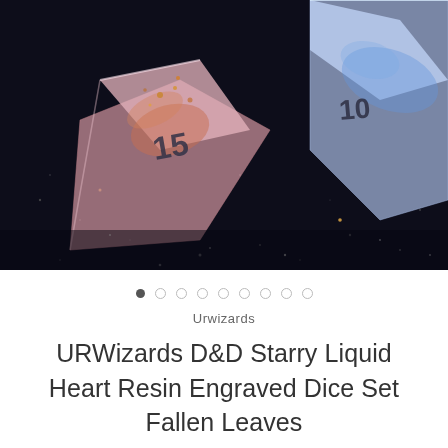[Figure (photo): Close-up photograph of translucent polyhedral resin dice with copper/rose gold flecks and glitter, placed on a dark glittery black surface. The dice show facets with numbers engraved and filled with teal/cyan ink.]
Urwizards
URWizards D&D Starry Liquid Heart Resin Engraved Dice Set Fallen Leaves
★★★★★ (1)
$59